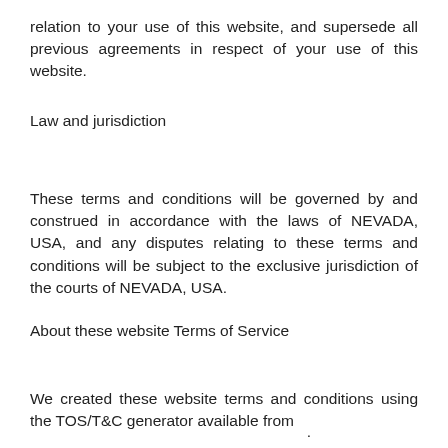relation to your use of this website, and supersede all previous agreements in respect of your use of this website.
Law and jurisdiction
These terms and conditions will be governed by and construed in accordance with the laws of NEVADA, USA, and any disputes relating to these terms and conditions will be subject to the exclusive jurisdiction of the courts of NEVADA, USA.
About these website Terms of Service
We created these website terms and conditions using the TOS/T&C generator available from
.
www.louishandbagsukonline.com's details